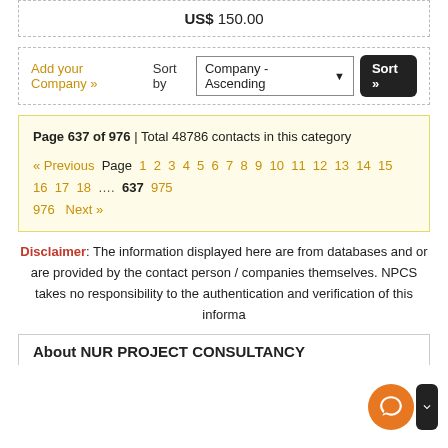US$ 150.00
Add your Company » Sort by Company - Ascending Sort »
Page 637 of 976 | Total 48786 contacts in this category
« Previous Page 1 2 3 4 5 6 7 8 9 10 11 12 13 14 15 16 17 18 .... 637 975 976 Next »
Disclaimer: The information displayed here are from databases and or are provided by the contact person / companies themselves. NPCS takes no responsibility to the authentication and verification of this informa...
About NUR PROJECT CONSULTANCY